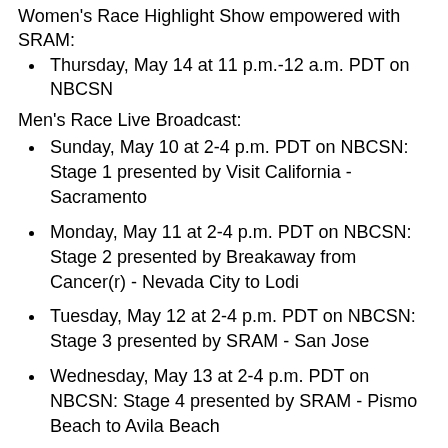Women's Race Highlight Show empowered with SRAM:
Thursday, May 14 at 11 p.m.-12 a.m. PDT on NBCSN
Men's Race Live Broadcast:
Sunday, May 10 at 2-4 p.m. PDT on NBCSN: Stage 1 presented by Visit California - Sacramento
Monday, May 11 at 2-4 p.m. PDT on NBCSN: Stage 2 presented by Breakaway from Cancer(r) - Nevada City to Lodi
Tuesday, May 12 at 2-4 p.m. PDT on NBCSN: Stage 3 presented by SRAM - San Jose
Wednesday, May 13 at 2-4 p.m. PDT on NBCSN: Stage 4 presented by SRAM - Pismo Beach to Avila Beach
Thursday, May 14 at 2-4 p.m. PDT on NBCSN: Stage 5 presented by Visit California - Santa Barbara to Santa Clarita
Friday, May 15 at 2-4 p.m. PDT on NBCSN: Stage 6 presented by Laure - Big Bear Lake Individual Time...